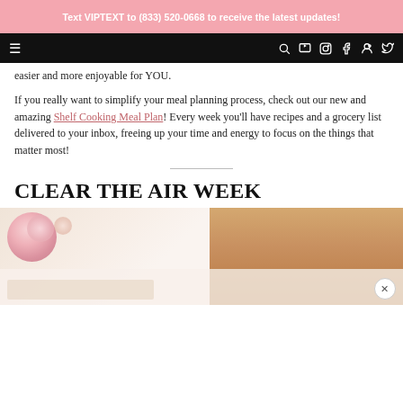Text VIPTEXT to (833) 520-0668 to receive the latest updates!
Navigation bar with hamburger menu and social icons
easier and more enjoyable for YOU.
If you really want to simplify your meal planning process, check out our new and amazing Shelf Cooking Meal Plan! Every week you'll have recipes and a grocery list delivered to your inbox, freeing up your time and energy to focus on the things that matter most!
CLEAR THE AIR WEEK
[Figure (photo): Split image showing flowers on the left and a person on the right, partially visible, with an advertisement overlay at the bottom and a close button]